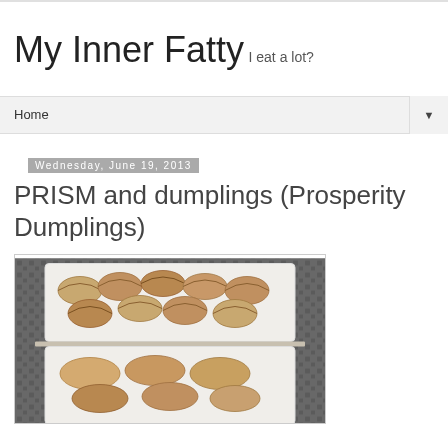My Inner Fatty
I eat a lot?
Home
Wednesday, June 19, 2013
PRISM and dumplings (Prosperity Dumplings)
[Figure (photo): Photo of dumplings in white styrofoam containers on a metal grate surface]